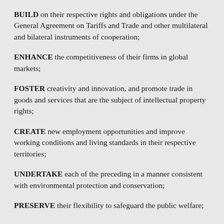BUILD on their respective rights and obligations under the General Agreement on Tariffs and Trade and other multilateral and bilateral instruments of cooperation;
ENHANCE the competitiveness of their firms in global markets;
FOSTER creativity and innovation, and promote trade in goods and services that are the subject of intellectual property rights;
CREATE new employment opportunities and improve working conditions and living standards in their respective territories;
UNDERTAKE each of the preceding in a manner consistent with environmental protection and conservation;
PRESERVE their flexibility to safeguard the public welfare;